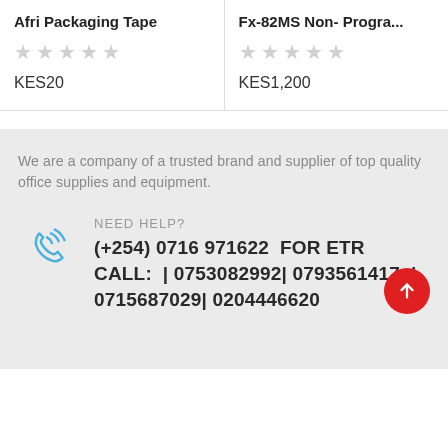Afri Packaging Tape
KES20
Fx-82MS Non- Progra...
KES1,200
We are a company of a trusted brand and supplier of top quality office supplies and equipment.
NEED HELP?
(+254) 0716 971622  FOR ETR CALL:  | 0753082992| 0793561417  | 0715687029| 0204446620